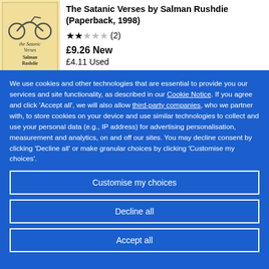[Figure (illustration): Book cover of The Satanic Verses by Salman Rushdie, yellowish background with stylized illustration and text]
The Satanic Verses by Salman Rushdie (Paperback, 1998)
★★☆☆☆ (2)
£9.26 New
£4.11 Used
We use cookies and other technologies that are essential to provide you our services and site functionality, as described in our Cookie Notice. If you agree and click 'Accept all', we will also allow third-party companies, who we partner with, to store cookies on your device and use similar technologies to collect and use your personal data (e.g., IP address) for advertising personalisation, measurement and analytics, on and off our sites. You may decline consent by clicking 'Decline all' or make granular choices by clicking 'Customise my choices'.
Customise my choices
Decline all
Accept all